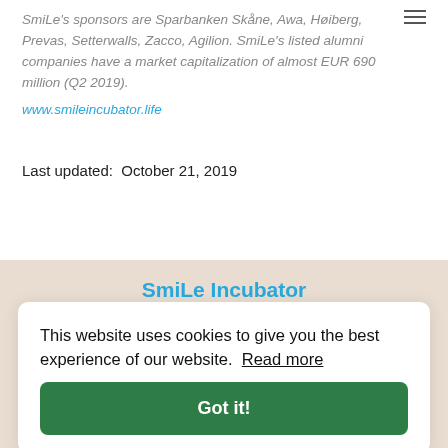SmiLe's sponsors are Sparbanken Skåne, Awa, Høiberg, Prevas, Setterwalls, Zacco, Agilion. SmiLe's listed alumni companies have a market capitalization of almost EUR 690 million (Q2 2019).
www.smileincubator.life
Last updated:  October 21, 2019
SmiLe Incubator
SmiLe Incubator is a business incubator located at Medicon Village in Lund, Sweden. We help entrepreneurs and early stage companies to achieve their goals and commercialize new ideas.
Click here to read more about us!
Get in touch with us!
This website uses cookies to give you the best experience of our website. Read more
Got it!